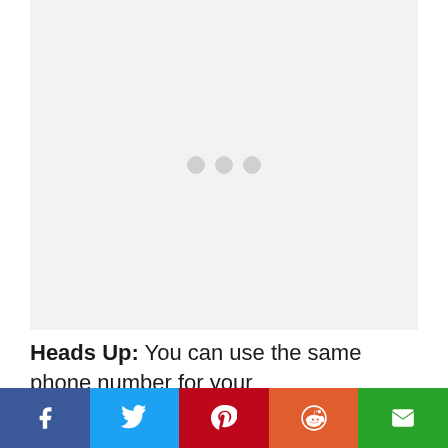[Figure (other): Ad placeholder with three grey loading dots on light grey background]
Heads Up: You can use the same phone number for your children/dependents, though I don't know if you can use the same phone number for multiple adults in
[Figure (other): Social sharing bar with Facebook, Twitter, Pinterest, Reddit, and Email buttons]